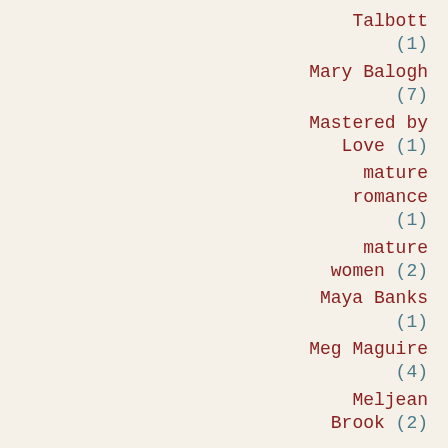Talbott (1)
Mary Balogh (7)
Mastered by Love (1)
mature romance (1)
mature women (2)
Maya Banks (1)
Meg Maguire (4)
Meljean Brook (2)